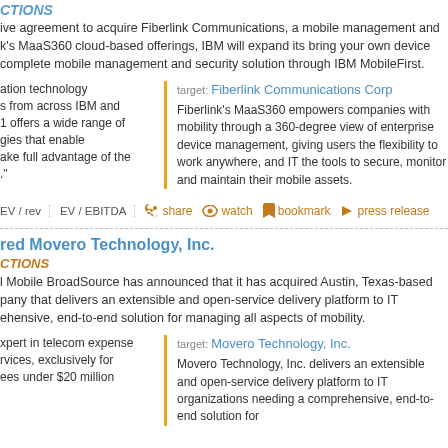CTIONS
ive agreement to acquire Fiberlink Communications, a mobile management and k's MaaS360 cloud-based offerings, IBM will expand its bring your own device complete mobile management and security solution through IBM MobileFirst.
ation technology s from across IBM and 1 offers a wide range of gies that enable ake full advantage of the ."
target: Fiberlink Communications Corp
Fiberlink's MaaS360 empowers companies with mobility through a 360-degree view of enterprise device management, giving users the flexibility to work anywhere, and IT the tools to secure, monitor and maintain their mobile assets.
EV / rev  EV / EBITDA  share  watch  bookmark  press release
red Movero Technology, Inc.
CTIONS
l Mobile BroadSource has announced that it has acquired Austin, Texas-based pany that delivers an extensible and open-service delivery platform to IT ehensive, end-to-end solution for managing all aspects of mobility.
xpert in telecom expense rvices, exclusively for ees under $20 million
target: Movero Technology, Inc.
Movero Technology, Inc. delivers an extensible and open-service delivery platform to IT organizations needing a comprehensive, end-to-end solution for managing all aspects of mobility.